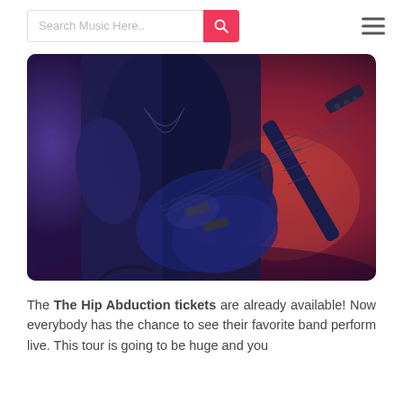Search Music Here..
[Figure (photo): A guitarist performing live on stage, shown from the torso down, wearing a black t-shirt and necklace, playing an electric guitar. The background has dramatic red and purple lighting with smoke effects.]
The The Hip Abduction tickets are already available! Now everybody has the chance to see their favorite band perform live. This tour is going to be huge and you